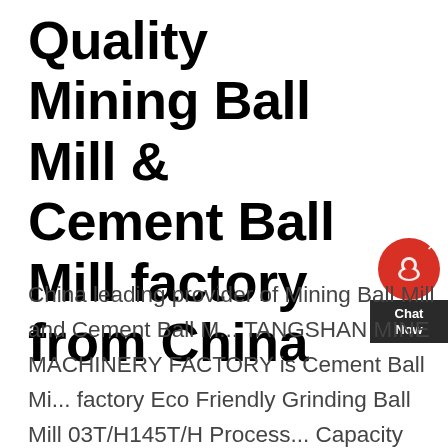Quality Mining Ball Mill & Cement Ball Mill factory from China
China leading provider of Mining Ball Mill and Cement Ball M... TANGSHAN MINE MACHINERY FACTORY is Cement Ball Mi... factory Eco Friendly Grinding Ball Mill 03T/H145T/H Process... Capacity For Rock Gold Mining; Gold Zinc Ore Ball Grinding Mill , Industrial Ball Grinder Machine ; Mining Processing Ball Mill Equipment High Capacity Raw MaterialA 15 mio t/a cement plant is having a closed circuit ball mill for cement grinding: The mill has been operating with satisfactory performance interms of system availability and output, however power consumption was on higher side 31 System Description Mill Rated capacity 150 t/h OPC at 2800 blaine I chamber liners II chamber liners